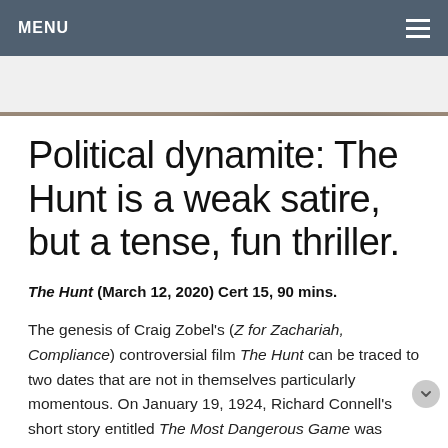MENU
[Figure (photo): Partial photo visible at top of article, appears to show people outdoors]
Political dynamite: The Hunt is a weak satire, but a tense, fun thriller.
The Hunt (March 12, 2020) Cert 15, 90 mins.
The genesis of Craig Zobel's (Z for Zachariah, Compliance) controversial film The Hunt can be traced to two dates that are not in themselves particularly momentous. On January 19, 1924, Richard Connell's short story entitled The Most Dangerous Game was published in Collier's. Ninety-two years later, on September 8, 2016, Presidential hopeful